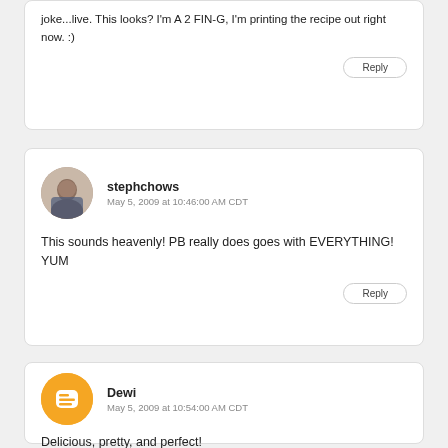joke...live. This looks? I'm A 2 FIN-G, I'm printing the recipe out right now. :)
Reply
stephchows
May 5, 2009 at 10:46:00 AM CDT
This sounds heavenly! PB really does goes with EVERYTHING! YUM
Reply
Dewi
May 5, 2009 at 10:54:00 AM CDT
Delicious, pretty, and perfect!
Reply